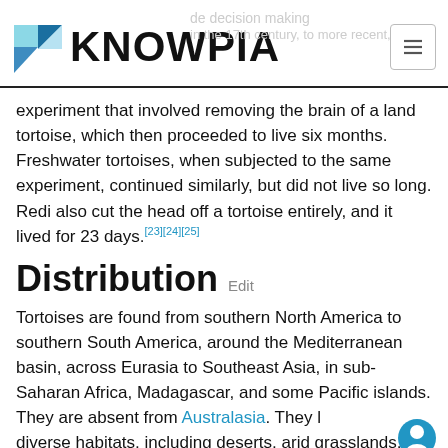KNOWPIA
experiment that involved removing the brain of a land tortoise, which then proceeded to live six months. Freshwater tortoises, when subjected to the same experiment, continued similarly, but did not live so long. Redi also cut the head off a tortoise entirely, and it lived for 23 days.[23][24][25]
Distribution Edit
Tortoises are found from southern North America to southern South America, around the Mediterranean basin, across Eurasia to Southeast Asia, in sub-Saharan Africa, Madagascar, and some Pacific islands. They are absent from Australasia. They live in diverse habitats, including deserts, arid grasslands,